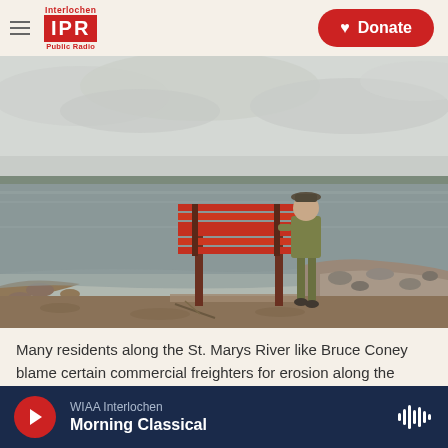[Figure (logo): Interlochen IPR Public Radio logo in red]
[Figure (other): Red donate button with heart icon]
[Figure (photo): Man standing next to a red park bench on a rocky shoreline along the St. Marys River, with a large lake and overcast sky in the background]
Many residents along the St. Marys River like Bruce Coney blame certain commercial freighters for erosion along the shoreline. "I just want them to
[Figure (other): Audio player bar: WIAA Interlochen Morning Classical with play button and waveform icon]